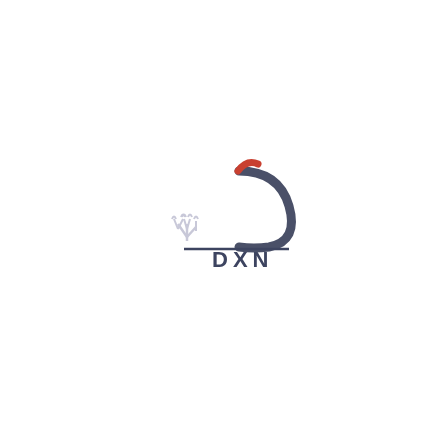[Figure (logo): DXN company logo consisting of a stylized ganoderma mushroom icon in light gray on the left, a large dark blue-gray parenthesis/D shape with a red curved accent at top on the right, and the text 'DXN' below in dark slate blue with a horizontal line above it.]